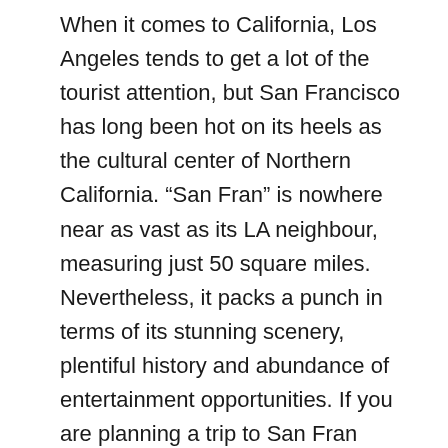When it comes to California, Los Angeles tends to get a lot of the tourist attention, but San Francisco has long been hot on its heels as the cultural center of Northern California. “San Fran” is nowhere near as vast as its LA neighbour, measuring just 50 square miles. Nevertheless, it packs a punch in terms of its stunning scenery, plentiful history and abundance of entertainment opportunities. If you are planning a trip to San Fran soon, we’ve put together a hit-list of eight key experiences that should be front and center of your Frisco bucket list.